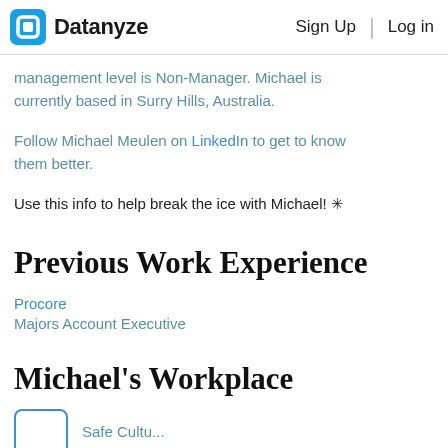Datanyze | Sign Up | Log in
management level is Non-Manager. Michael is currently based in Surry Hills, Australia.
Follow Michael Meulen on LinkedIn to get to know them better.
Use this info to help break the ice with Michael! ✳
Previous Work Experience
Procore
Majors Account Executive
Michael's Workplace
[Figure (logo): Partial blue-bordered square logo at bottom of page]